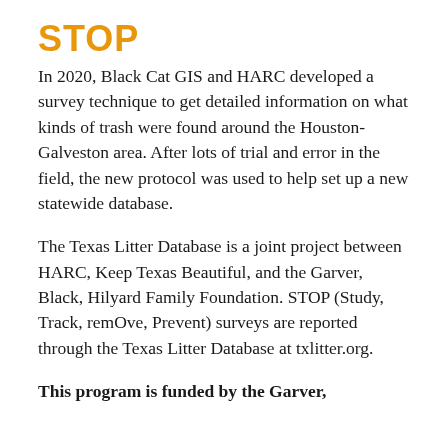STOP
In 2020, Black Cat GIS and HARC developed a survey technique to get detailed information on what kinds of trash were found around the Houston- Galveston area. After lots of trial and error in the field, the new protocol was used to help set up a new statewide database.
The Texas Litter Database is a joint project between HARC, Keep Texas Beautiful, and the Garver, Black, Hilyard Family Foundation. STOP (Study, Track, remOve, Prevent) surveys are reported through the Texas Litter Database at txlitter.org.
This program is funded by the Garver,